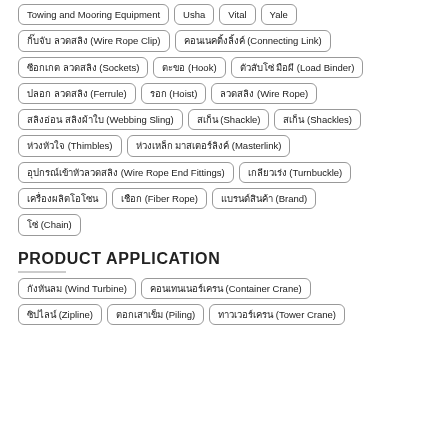Towing and Mooring Equipment
Usha
Vital
Yale
กิ๊บจับ ลวดสลิง (Wire Rope Clip)
คอนเนคติ้งลิ้งค์ (Connecting Link)
ซีอกเกต ลวดสลิง (Sockets)
ตะขอ (Hook)
ตัวสับโซ่ มือผี (Load Binder)
ปลอก ลวดสลิง (Ferrule)
รอก (Hoist)
ลวดสลิง (Wire Rope)
สลิงอ่อน สลิงผ้าใบ (Webbing Sling)
สเก็น (Shackle)
สเก็น (Shackles)
ห่วงหัวใจ (Thimbles)
ห่วงเหล็ก มาสเตอร์ลิงค์ (Masterlink)
อุปกรณ์เข้าหัวลวดสลิง (Wire Rope End Fittings)
เกลียวเร่ง (Turnbuckle)
เครื่องผลิตโอโซน
เชือก (Fiber Rope)
แบรนด์สินค้า (Brand)
โซ่ (Chain)
PRODUCT APPLICATION
กังหันลม (Wind Turbine)
คอนเทนเนอร์เครน (Container Crane)
ซิปไลน์ (Zipline)
ตอกเสาเข็ม (Piling)
ทาวเวอร์เครน (Tower Crane)